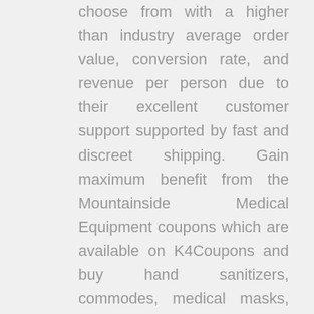choose from with a higher than industry average order value, conversion rate, and revenue per person due to their excellent customer support supported by fast and discreet shipping. Gain maximum benefit from the Mountainside Medical Equipment coupons which are available on K4Coupons and buy hand sanitizers, commodes, medical masks, thermometers, etc. at much reduced prices. Use the Mountainside Medical Equipment promo codes and shop for all the top-notch E...